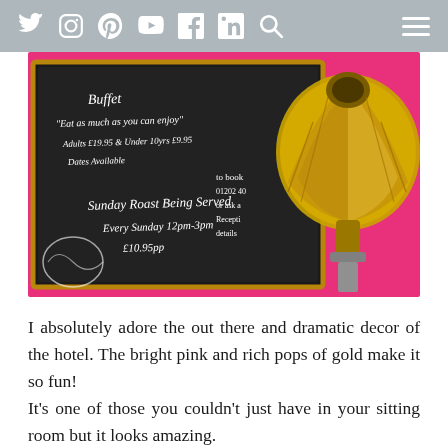Social media icons: Twitter, Instagram, Pinterest, YouTube, Facebook, LinkedIn, Search, Hamburger menu
[Figure (photo): Interior of a hotel with bright pink walls. A blackboard sign advertises a buffet with text 'Eat as much as you can enjoy', pricing details, and Sunday Roast information. A decorative gold gramophone is prominently displayed in the foreground.]
I absolutely adore the out there and dramatic decor of the hotel. The bright pink and rich pops of gold make it so fun!
It's one of those you couldn't just have in your sitting room but it looks amazing.